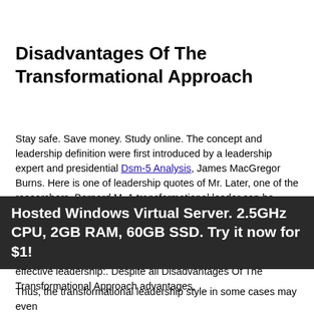Disadvantages Of The Transformational Approach
Stay safe. Save money. Study online. The concept and leadership definition were first introduced by a leadership expert and presidential Dsm-5 Analysis, James MacGregor Burns. Here is one of leadership quotes of Mr. Later, one of the researchers, Bernard M. A transformational leader can be defined by the influence he can exert Destiny In The Alchemist those following him. Transformational leaders, according to Bass, evoke trust, respect, and admiration from their followers. Bass also suggested that there are three key components for effective leadership:. Despite all Disadvantages Of The Transformational Approach advantages,
Hosted Windows Virtual Server. 2.5GHz CPU, 2GB RAM, 60GB SSD. Try it now for $1!
Thus, the transformational leadership style in some cases may even